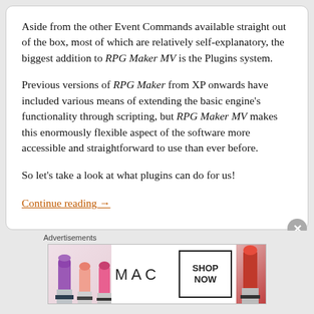Aside from the other Event Commands available straight out of the box, most of which are relatively self-explanatory, the biggest addition to RPG Maker MV is the Plugins system.
Previous versions of RPG Maker from XP onwards have included various means of extending the basic engine's functionality through scripting, but RPG Maker MV makes this enormously flexible aspect of the software more accessible and straightforward to use than ever before.
So let's take a look at what plugins can do for us!
Continue reading →
Advertisements
[Figure (photo): MAC Cosmetics advertisement banner showing colorful lipsticks on the left, MAC logo in the center, a 'SHOP NOW' box, and a red lipstick on the right.]